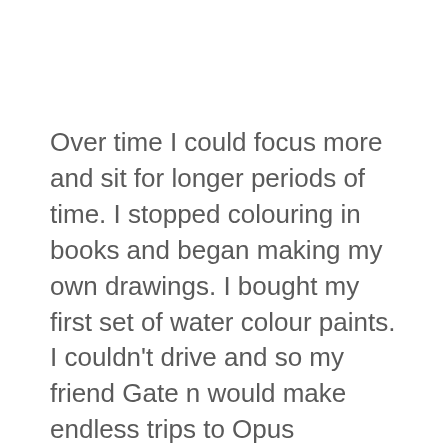Over time I could focus more and sit for longer periods of time. I stopped colouring in books and began making my own drawings. I bought my first set of water colour paints. I couldn't drive and so my friend Gate n would make endless trips to Opus